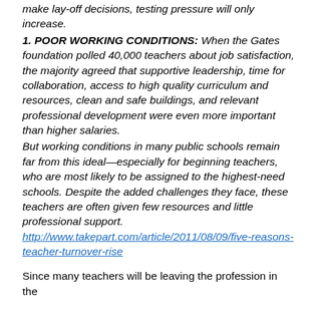make lay-off decisions, testing pressure will only increase.
1. POOR WORKING CONDITIONS: When the Gates foundation polled 40,000 teachers about job satisfaction, the majority agreed that supportive leadership, time for collaboration, access to high quality curriculum and resources, clean and safe buildings, and relevant professional development were even more important than higher salaries.
But working conditions in many public schools remain far from this ideal—especially for beginning teachers, who are most likely to be assigned to the highest-need schools. Despite the added challenges they face, these teachers are often given few resources and little professional support. http://www.takepart.com/article/2011/08/09/five-reasons-teacher-turnover-rise
Since many teachers will be leaving the profession in the